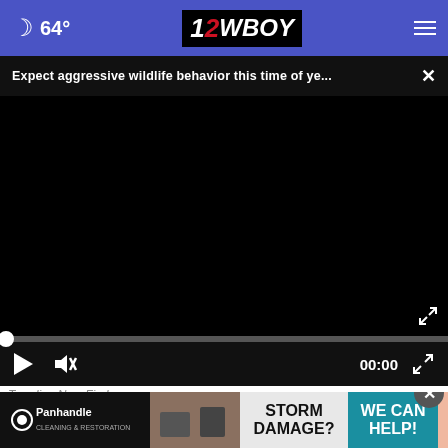64° 12WBOY
Expect aggressive wildlife behavior this time of ye... ×
[Figure (screenshot): Black video player with progress bar, play button, mute button, 00:00 timestamp, and fullscreen icon on dark control bar]
Trending New Finds
[Figure (screenshot): Advertisement banner: Panhandle Cleaning & Restoration - Storm Damage? We Can Help!]